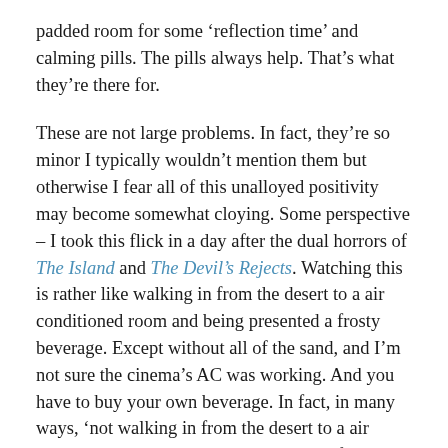padded room for some ‘reflection time’ and calming pills. The pills always help. That’s what they’re there for.
These are not large problems. In fact, they’re so minor I typically wouldn’t mention them but otherwise I fear all of this unalloyed positivity may become somewhat cloying. Some perspective – I took this flick in a day after the dual horrors of The Island and The Devil’s Rejects. Watching this is rather like walking in from the desert to a air conditioned room and being presented a frosty beverage. Except without all of the sand, and I’m not sure the cinema’s AC was working. And you have to buy your own beverage. In fact, in many ways, ‘not walking in from the desert to a air conditioned room and being presented a frosty beverage’ would be a better simile. Hmm. This isn’t going too well. Instead, let’s just say this is the sort of film capable of wiping the palette clean after a rather rancid starter and main course, like a nice lemon sorbet. Except it’s not really practical to eat a film, and I doubt celluloid tastes very